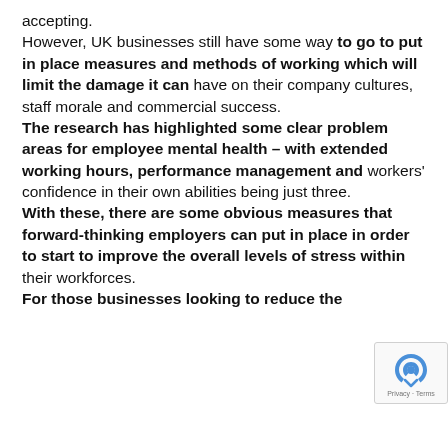accepting. However, UK businesses still have some way to go to put in place measures and methods of working which will limit the damage it can have on their company cultures, staff morale and commercial success. The research has highlighted some clear problem areas for employee mental health – with extended working hours, performance management and workers' confidence in their own abilities being just three. With these, there are some obvious measures that forward-thinking employers can put in place in order to start to improve the overall levels of stress within their workforces. For those businesses looking to reduce the